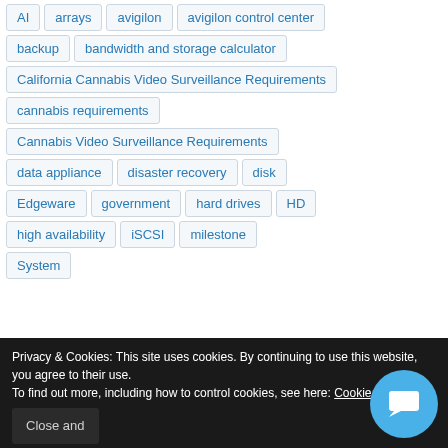AI
arrays
avigilon
avigilon control center
backup
bandwidth and storage calculator
California Cannabis Video Surveillance Requirements
cannabis requirements
Cannabis Video Surveillance Requirements
data appliance
disaster recovery
disk
Edgeware
government
hard drives
HD
high availability
iSCSI
milestone
System
Privacy & Cookies: This site uses cookies. By continuing to use this website, you agree to their use. To find out more, including how to control cookies, see here: Cookie Policy